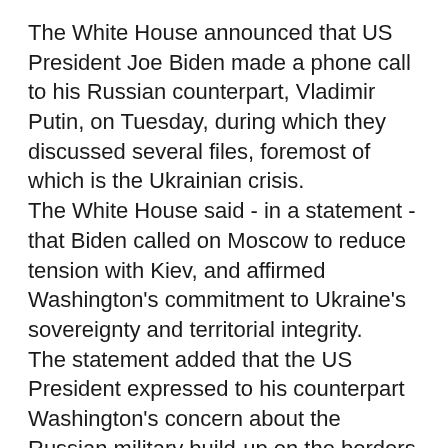The White House announced that US President Joe Biden made a phone call to his Russian counterpart, Vladimir Putin, on Tuesday, during which they discussed several files, foremost of which is the Ukrainian crisis. The White House said - in a statement - that Biden called on Moscow to reduce tension with Kiev, and affirmed Washington's commitment to Ukraine's sovereignty and territorial integrity. The statement added that the US President expressed to his counterpart Washington's concern about the Russian military build-up on the borders with Crimea and Ukraine. Biden made it clear during the call that his country would act "firmly" to defend its national interests in the face of Russia's moves, such as Free Fortnite V Bucks And Skins and interference in the elections, according to the statement. The White House said that Biden proposed holding a